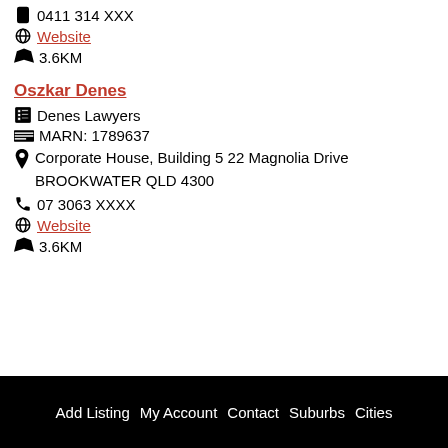0411 314 XXX
Website
3.6KM
Oszkar Denes
Denes Lawyers
MARN: 1789637
Corporate House, Building 5 22 Magnolia Drive BROOKWATER QLD 4300
07 3063 XXXX
Website
3.6KM
Add Listing  My Account  Contact  Suburbs  Cities